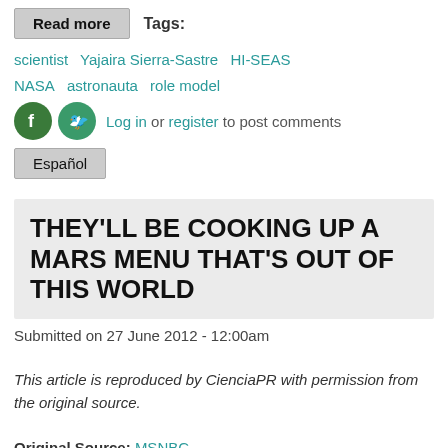Read more   Tags:
scientist   Yajaira Sierra-Sastre   HI-SEAS   NASA   astronauta   role model
Log in or register to post comments
Español
THEY'LL BE COOKING UP A MARS MENU THAT'S OUT OF THIS WORLD
Submitted on 27 June 2012 - 12:00am
This article is reproduced by CienciaPR with permission from the original source.
Original Source: MSNBC